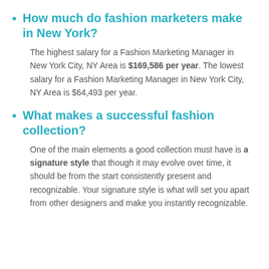How much do fashion marketers make in New York?
The highest salary for a Fashion Marketing Manager in New York City, NY Area is $169,586 per year. The lowest salary for a Fashion Marketing Manager in New York City, NY Area is $64,493 per year.
What makes a successful fashion collection?
One of the main elements a good collection must have is a signature style that though it may evolve over time, it should be from the start consistently present and recognizable. Your signature style is what will set you apart from other designers and make you instantly recognizable.